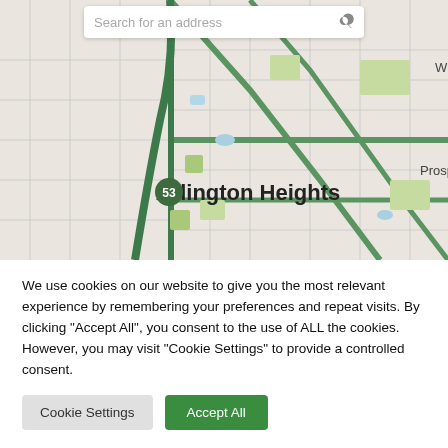[Figure (map): Street map showing Arlington Heights area with search bar at top reading 'Search for an address'. Map shows roads, green areas, and the label 'Arlington Heights' in bold. Route 53 shield is visible. 'Prospe' text partially visible at right edge.]
We use cookies on our website to give you the most relevant experience by remembering your preferences and repeat visits. By clicking “Accept All”, you consent to the use of ALL the cookies. However, you may visit "Cookie Settings" to provide a controlled consent.
Cookie Settings
Accept All